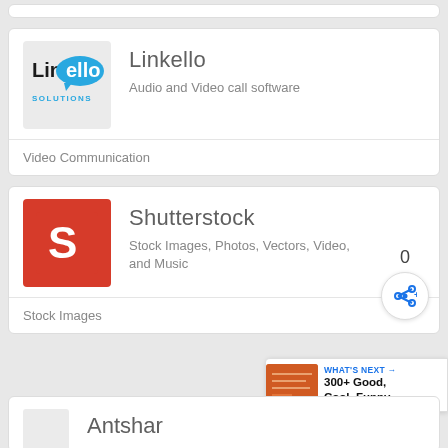[Figure (logo): Linkello Solutions logo - blue speech bubble with text]
Linkello
Audio and Video call software
Video Communication
[Figure (logo): Shutterstock logo - red square with white S icon]
Shutterstock
Stock Images, Photos, Vectors, Video, and Music
Stock Images
WHAT'S NEXT → 300+ Good, Cool, Funny,...
Antshar